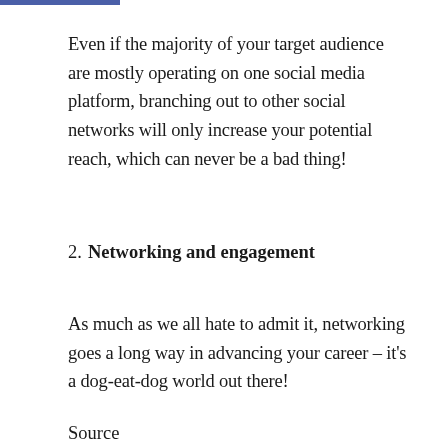Even if the majority of your target audience are mostly operating on one social media platform, branching out to other social networks will only increase your potential reach, which can never be a bad thing!
2. Networking and engagement
As much as we all hate to admit it, networking goes a long way in advancing your career – it's a dog-eat-dog world out there!
Source